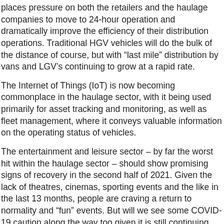places pressure on both the retailers and the haulage companies to move to 24-hour operation and dramatically improve the efficiency of their distribution operations. Traditional HGV vehicles will do the bulk of the distance of course, but with “last mile” distribution by vans and LGV’s continuing to grow at a rapid rate.
The Internet of Things (IoT) is now becoming commonplace in the haulage sector, with it being used primarily for asset tracking and monitoring, as well as fleet management, where it conveys valuable information on the operating status of vehicles.
The entertainment and leisure sector – by far the worst hit within the haulage sector – should show promising signs of recovery in the second half of 2021. Given the lack of theatres, cinemas, sporting events and the like in the last 13 months, people are craving a return to normality and “fun” events. But will we see some COVID-19 caution along the way too given it is still continuing epidemic?